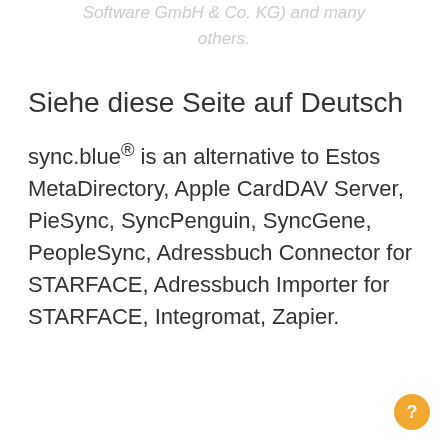Software GmbH & Co. KG) and many others.
Siehe diese Seite auf Deutsch
sync.blue® is an alternative to Estos MetaDirectory, Apple CardDAV Server, PieSync, SyncPenguin, SyncGene, PeopleSync, Adressbuch Connector for STARFACE, Adressbuch Importer for STARFACE, Integromat, Zapier.